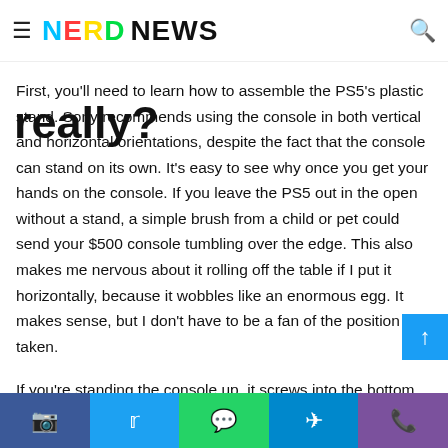≡ NERD NEWS 🔍
Setting up using a stand, really?
First, you'll need to learn how to assemble the PS5's plastic stand. Sony recommends using the console in both vertical and horizontal orientations, despite the fact that the console can stand on its own. It's easy to see why once you get your hands on the console. If you leave the PS5 out in the open without a stand, a simple brush from a child or pet could send your $500 console tumbling over the edge. This also makes me nervous about it rolling off the table if I put it horizontally, because it wobbles like an enormous egg. It makes sense, but I don't have to be a fan of the position taken.
If you're standing the console up, it screws into the bottom, and if you're laying it down, it slides into the back. Even
Facebook  Twitter  WhatsApp  Telegram  Viber